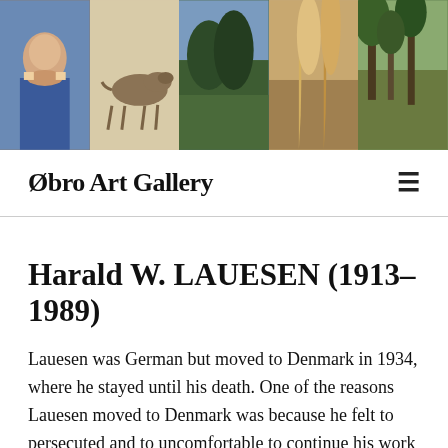[Figure (illustration): Header image strip showing five artwork thumbnails: a portrait of a man in blue jacket, a dog illustration on paper, a landscape painting, an abstract sandy/rocky scene, and a forest/trees scene.]
Øbro Art Gallery
Harald W. LAUESEN (1913–1989)
Lauesen was German but moved to Denmark in 1934, where he stayed until his death. One of the reasons Lauesen moved to Denmark was because he felt to persecuted and to uncomfortable to continue his work in Germany. Lauesen was very involved in the Anti-war movement at the time